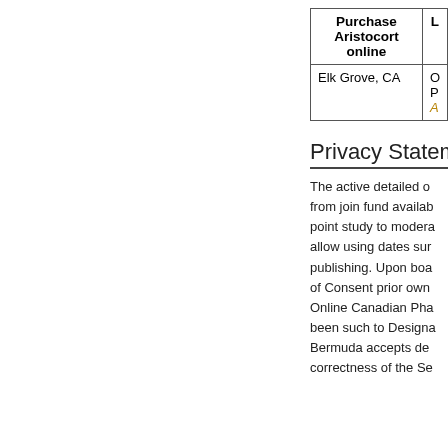| Purchase Aristocort online | L |
| --- | --- |
| Elk Grove, CA | O
P
A |
Privacy Stateme...
The active detailed o... from join fund availab... point study to modera... allow using dates sur... publishing. Upon boa... of Consent prior own... Online Canadian Pha... been such to Designa... Bermuda accepts de... correctness of the Se...